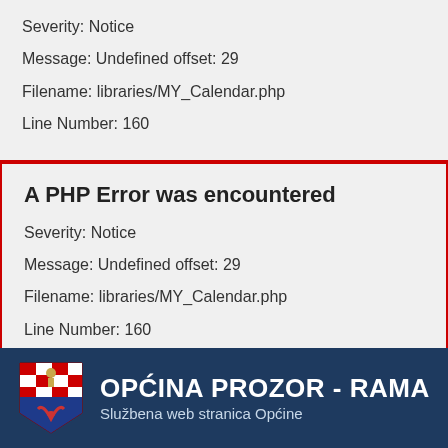Severity: Notice
Message: Undefined offset: 29
Filename: libraries/MY_Calendar.php
Line Number: 160
A PHP Error was encountered
Severity: Notice
Message: Undefined offset: 29
Filename: libraries/MY_Calendar.php
Line Number: 160
[Figure (logo): Općina Prozor - Rama municipal logo with coat of arms shield (red and white checkerboard, blue/red sections with symbols) and white text 'OPĆINA PROZOR - RAMA' with subtitle 'Službena web stranica Općine' on dark navy background]